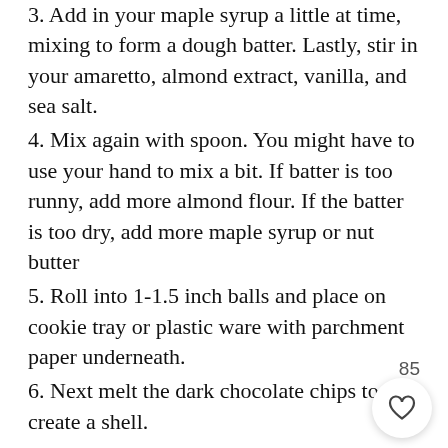3. Add in your maple syrup a little at time, mixing to form a dough batter. Lastly, stir in your amaretto, almond extract, vanilla, and sea salt.
4. Mix again with spoon. You might have to use your hand to mix a bit. If batter is too runny, add more almond flour. If the batter is too dry, add more maple syrup or nut butter
5. Roll into 1-1.5 inch balls and place on cookie tray or plastic ware with parchment paper underneath.
6. Next melt the dark chocolate chips to create a shell.
7. Place dark chocolate chips and coconut oil in microwave. Cook 3x at 30 second intervals mixing each stop.
8. Once chocolate is melted, take and dip
85